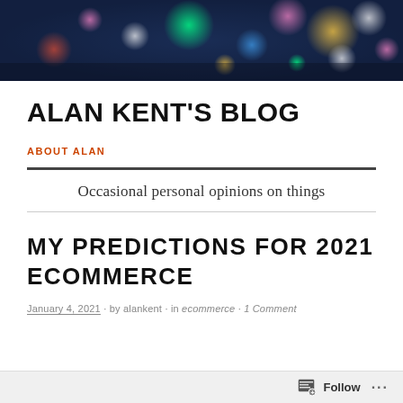[Figure (photo): Blurry bokeh city lights at night — dark blue sky with colorful circular light blurs (green, pink, orange, white)]
ALAN KENT'S BLOG
ABOUT ALAN
Occasional personal opinions on things
MY PREDICTIONS FOR 2021 ECOMMERCE
January 4, 2021 · by alankent · in ecommerce · 1 Comment